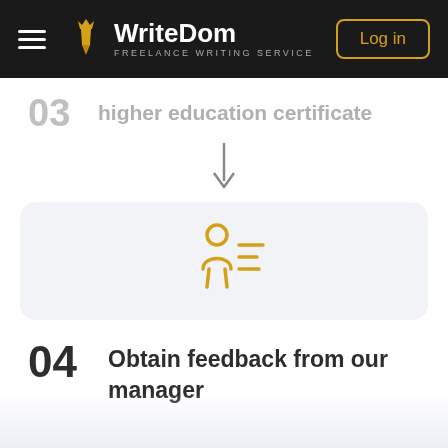WriteDom — FREELANCE WRITING SERVICE | Log in
03 higher education certificate
[Figure (flowchart): Downward arrow connecting step 03 to step 04]
[Figure (illustration): Orange person/contact card icon on light grey rounded rectangle background]
04 Obtain feedback from our manager